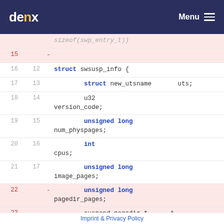denx Menu
[Figure (screenshot): Code diff view showing struct swsusp_info definition with deleted and added lines. Lines 15-24 show removed fields (pagedir_pages, suspend_pagedir, pagedir[MAX_PBES]) and line 18+ shows added unsigned long field.]
Imprint & Privacy Policy